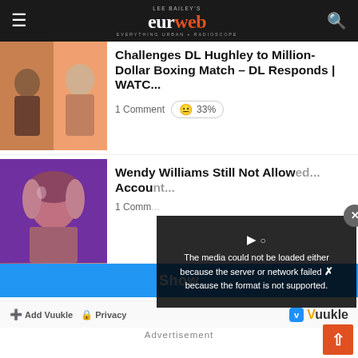Lee Bailey's eurweb.com — Everything Urban + Radioscope
Challenges DL Hughley to Million-Dollar Boxing Match – DL Responds | WATC...
1 Comment | 😐 33%
Wendy Williams Still Not Allow... Accou...
1 Comm...
Show
[Figure (screenshot): Media error overlay: The media could not be loaded either because the server or network failed or because the format is not supported.]
Add Vuukle  Privacy
Vuukle
Advertisement